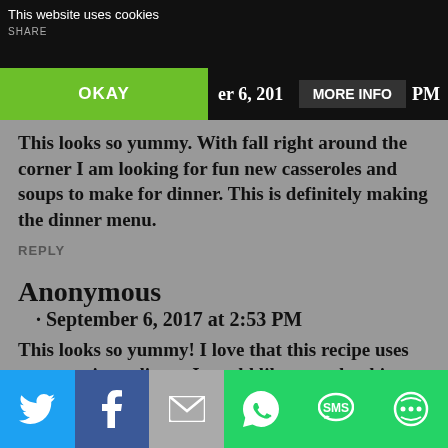This website uses cookies | SHARE
OKAY | er 6, 201 | MORE INFO | PM
This looks so yummy. With fall right around the corner I am looking for fun new casseroles and soups to make for dinner. This is definitely making the dinner menu.
REPLY
Anonymous
· September 6, 2017 at 2:53 PM
This looks so yummy! I love that this recipe uses common ingredients. I would like to make this someday! Thanks for
Twitter | Facebook | Email | WhatsApp | SMS | Other